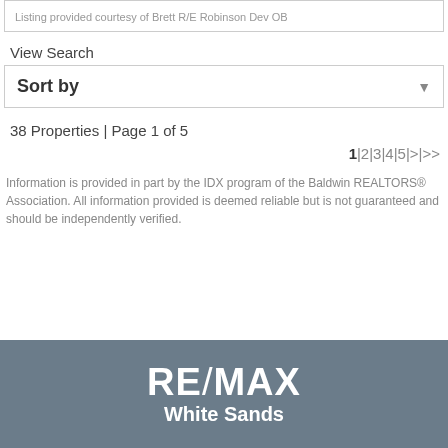Listing provided courtesy of Brett R/E Robinson Dev OB
View Search
Sort by
38 Properties | Page 1 of 5
1|2|3|4|5|>|>>
Information is provided in part by the IDX program of the Baldwin REALTORS® Association. All information provided is deemed reliable but is not guaranteed and should be independently verified.
RE/MAX White Sands